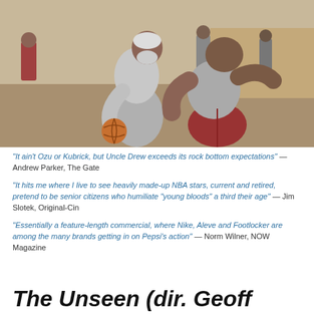[Figure (photo): Two men playing basketball on an outdoor court. An older man with a white beard in a gray hoodie dribbles the ball while a muscular younger man in a gray tank top and red shorts guards him closely. Other players visible in the background.]
“It ain’t Ozu or Kubrick, but Uncle Drew exceeds its rock bottom expectations” — Andrew Parker, The Gate
“It hits me where I live to see heavily made-up NBA stars, current and retired, pretend to be senior citizens who humiliate “young bloods” a third their age” — Jim Slotek, Original-Cin
“Essentially a feature-length commercial, where Nike, Aleve and Footlocker are among the many brands getting in on Pepsi’s action” — Norm Wilner, NOW Magazine
The Unseen (dir. Geoff